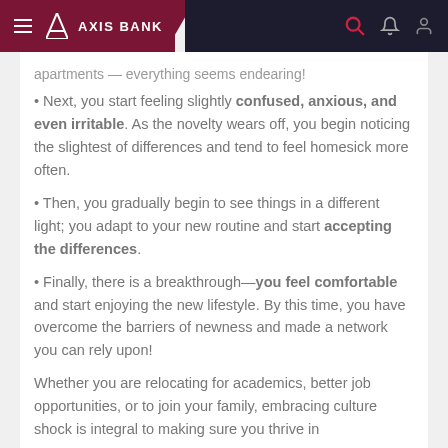AXIS BANK
apartments — everything seems endearing!
Next, you start feeling slightly confused, anxious, and even irritable. As the novelty wears off, you begin noticing the slightest of differences and tend to feel homesick more often.
Then, you gradually begin to see things in a different light; you adapt to your new routine and start accepting the differences.
Finally, there is a breakthrough—you feel comfortable and start enjoying the new lifestyle. By this time, you have overcome the barriers of newness and made a network you can rely upon!
Whether you are relocating for academics, better job opportunities, or to join your family, embracing culture shock is integral to making sure you thrive in